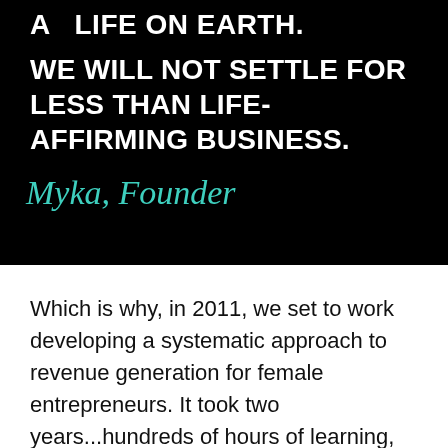A LIFE ON EARTH.
WE WILL NOT SETTLE FOR LESS THAN LIFE-AFFIRMING BUSINESS.
Myka, Founder
Which is why, in 2011, we set to work developing a systematic approach to revenue generation for female entrepreneurs. It took two years...hundreds of hours of learning,